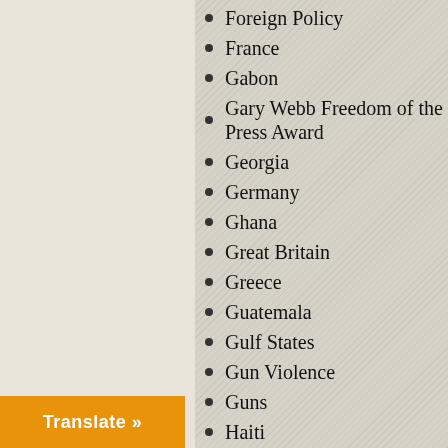Foreign Policy
France
Gabon
Gary Webb Freedom of the Press Award
Georgia
Germany
Ghana
Great Britain
Greece
Guatemala
Gulf States
Gun Violence
Guns
Haiti
Health Reform
History
Human Rights
Humor
Hungary